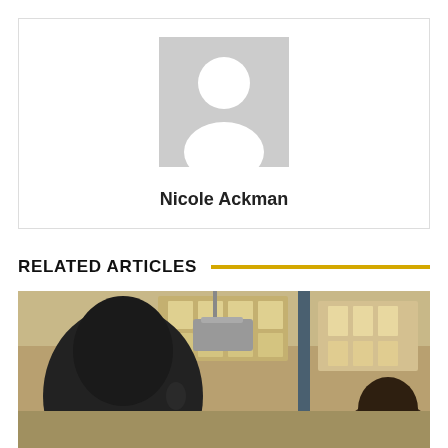[Figure (illustration): Profile card with a gray placeholder avatar icon (person silhouette) representing Nicole Ackman]
Nicole Ackman
RELATED ARTICLES
[Figure (photo): A film still or photograph showing two people in an interior setting with windows and a hanging light fixture]